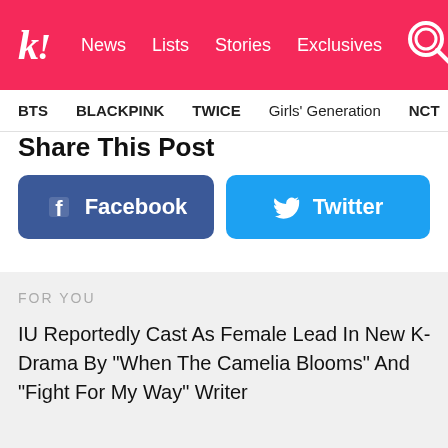k! News Lists Stories Exclusives
BTS   BLACKPINK   TWICE   Girls' Generation   NCT   aespa
Share This Post
[Figure (screenshot): Facebook share button (blue, rounded rectangle) with Facebook logo icon and text 'Facebook']
[Figure (screenshot): Twitter share button (light blue, rounded rectangle) with Twitter bird icon and text 'Twitter']
FOR YOU
IU Reportedly Cast As Female Lead In New K-Drama By "When The Camelia Blooms" And "Fight For My Way" Writer